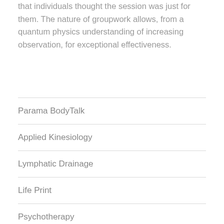that individuals thought the session was just for them. The nature of groupwork allows, from a quantum physics understanding of increasing observation, for exceptional effectiveness.
Parama BodyTalk
Applied Kinesiology
Lymphatic Drainage
Life Print
Psychotherapy
Distance Sessions